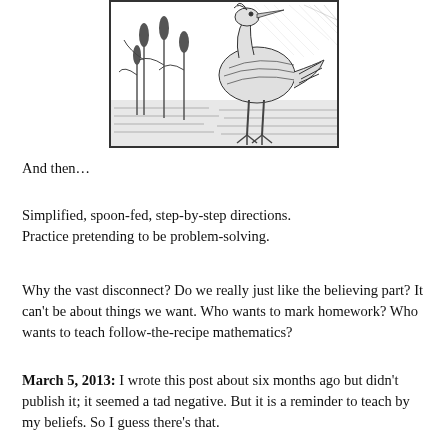[Figure (illustration): Black and white pen illustration of a heron or large wading bird standing among reeds and cattails near water, shown from the side with detailed cross-hatching.]
And then...
Simplified, spoon-fed, step-by-step directions. Practice pretending to be problem-solving.
Why the vast disconnect? Do we really just like the believing part? It can’t be about things we want. Who wants to mark homework? Who wants to teach follow-the-recipe mathematics?
March 5, 2013: I wrote this post about six months ago but didn’t publish it; it seemed a tad negative. But it is a reminder to teach by my beliefs. So I guess there’s that.